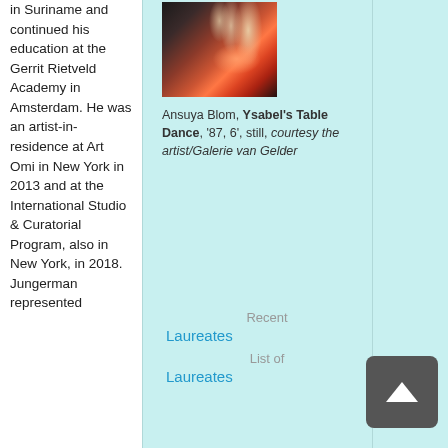in Suriname and continued his education at the Gerrit Rietveld Academy in Amsterdam. He was an artist-in-residence at Art Omi in New York in 2013 and at the International Studio & Curatorial Program, also in New York, in 2018. Jungerman represented
[Figure (photo): Dark photograph of hands and orange/red food items (possibly lobster or flowers) on a dark background]
Ansuya Blom, Ysabel's Table Dance, '87, 6', still, courtesy the artist/Galerie van Gelder
Recent Laureates
List of Laureates